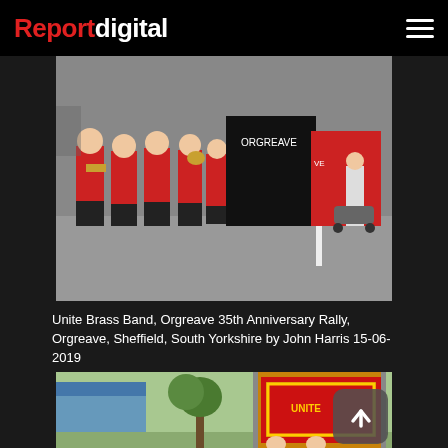Reportdigital
[Figure (photo): Unite Brass Band marching in red uniforms playing instruments, with protest banners behind them at Orgreave 35th Anniversary Rally, Orgreave, Sheffield, South Yorkshire. Photographed by John Harris on 15-06-2019.]
Unite Brass Band, Orgreave 35th Anniversary Rally, Orgreave, Sheffield, South Yorkshire by John Harris 15-06-2019
[Figure (photo): Outdoor rally scene with a decorative trade union banner in gold, red and green, with trees and industrial buildings visible in the background.]